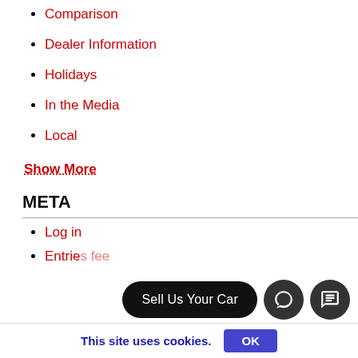Comparison
Dealer Information
Holidays
In the Media
Local
Show More
META
Log in
Entries feed (partial/cut off)
Sell Us Your Car
This site uses cookies.
OK